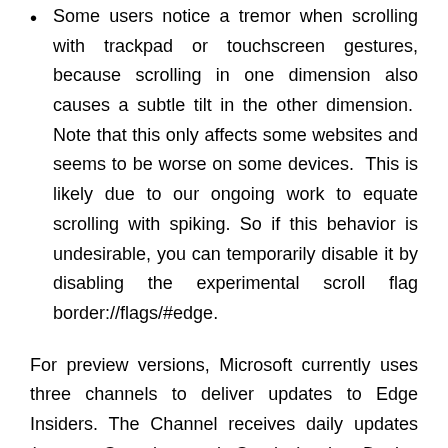Some users notice a tremor when scrolling with trackpad or touchscreen gestures, because scrolling in one dimension also causes a subtle tilt in the other dimension.  Note that this only affects some websites and seems to be worse on some devices.  This is likely due to our ongoing work to equate scrolling with spiking. So if this behavior is undesirable, you can temporarily disable it by disabling the experimental scroll flag border://flags/#edge.
For preview versions, Microsoft currently uses three channels to deliver updates to Edge Insiders. The Channel receives daily updates (except Saturday and Sunday), the Device Channel receives weekly updates, and the Beta Channel is updated every 6 weeks. Microsoft will support Edge Chromium on Windows 7